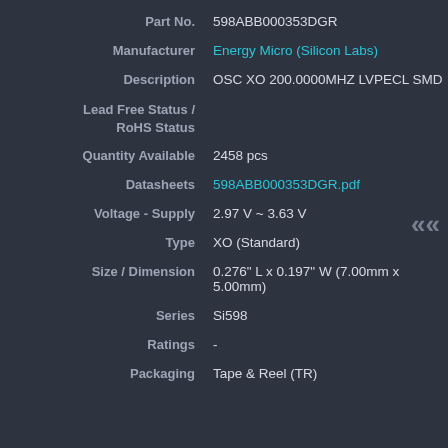Part No. 598ABB000353DGR
Manufacturer Energy Micro (Silicon Labs)
Description OSC XO 200.0000MHZ LVPECL SMD
Lead Free Status / RoHS Status
Quantity Available 2458 pcs
Datasheets 598ABB000353DGR.pdf
Voltage - Supply 2.97 V ~ 3.63 V
Type XO (Standard)
Size / Dimension 0.276" L x 0.197" W (7.00mm x 5.00mm)
Series Si598
Ratings -
Packaging Tape & Reel (TR)